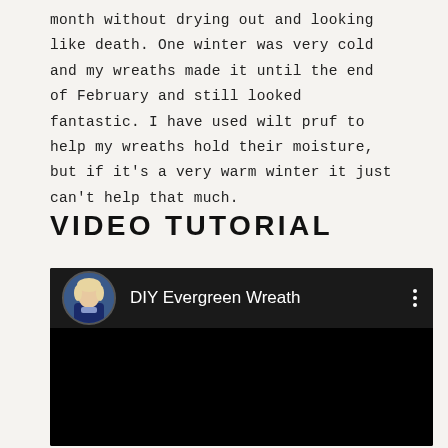month without drying out and looking like death. One winter was very cold and my wreaths made it until the end of February and still looked fantastic. I have used wilt pruf to help my wreaths hold their moisture, but if it's a very warm winter it just can't help that much.
VIDEO TUTORIAL
[Figure (screenshot): YouTube video embed showing 'DIY Evergreen Wreath' with a thumbnail of a woman in a blue top, dark background video player]